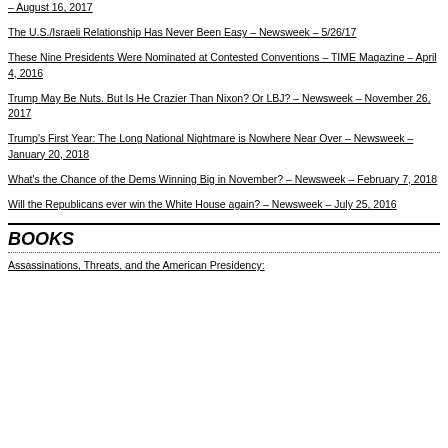– August 16, 2017
The U.S./Israeli Relationship Has Never Been Easy – Newsweek – 5/26/17
These Nine Presidents Were Nominated at Contested Conventions – TIME Magazine – April 4, 2016
Trump May Be Nuts. But Is He Crazier Than Nixon? Or LBJ? – Newsweek – November 26, 2017
Trump's First Year: The Long National Nightmare is Nowhere Near Over – Newsweek – January 20, 2018
What's the Chance of the Dems Winning Big in November? – Newsweek – February 7, 2018
Will the Republicans ever win the White House again? – Newsweek – July 25, 2016
BOOKS
Assassinations, Threats, and the American Presidency: